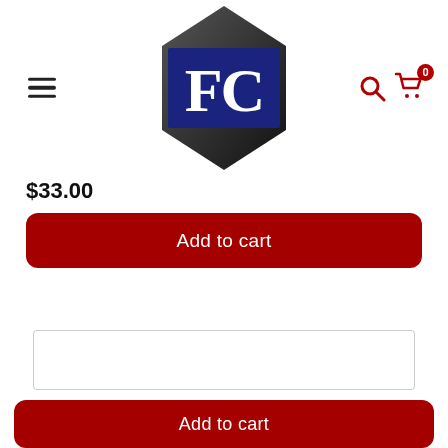[Figure (logo): FC logo: dark grey hexagon shape with a dark navy blue rectangle in the center containing white bold letters FC]
$33.00
Add to cart
Add to cart